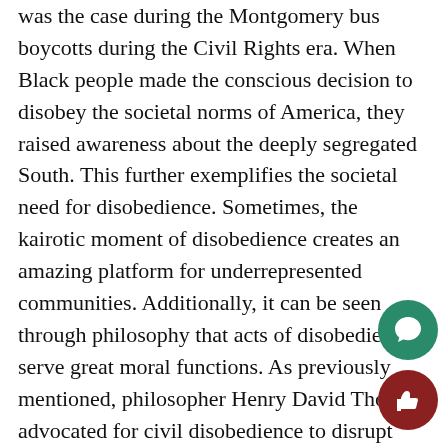was the case during the Montgomery bus boycotts during the Civil Rights era. When Black people made the conscious decision to disobey the societal norms of America, they raised awareness about the deeply segregated South. This further exemplifies the societal need for disobedience. Sometimes, the kairotic moment of disobedience creates an amazing platform for underrepresented communities. Additionally, it can be seen through philosophy that acts of disobedience serve great moral functions. As previously mentioned, philosopher Henry David Thoreau advocated for civil disobedience to disrupt illogical policies. He even spent a night in jail for refusing to pay his taxes, which he believed to be unnecessary at the time. However, one of the most crucial components of Thoreau's philosophy is where he states that anyone who actively chooses to disobey society must openly accept his consequences. This further negates the potential rebuttal inherently moral philosophy of disobedience. As people put pressure on society to listen to their struggles, they actively uphold the structure of government altogether, in the most